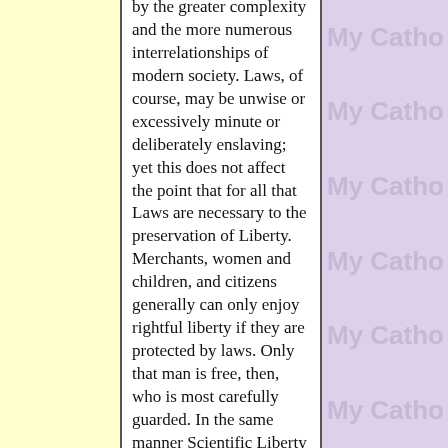by the greater complexity and the more numerous interrelationships of modern society. Laws, of course, may be unwise or excessively minute or deliberately enslaving; yet this does not affect the point that for all that Laws are necessary to the preservation of Liberty. Merchants, women and children, and citizens generally can only enjoy rightful liberty if they are protected by laws. Only that man is free, then, who is most carefully guarded. In the same manner Scientific Liberty does not consist in the absence of knowledge, or of scientific dogmas, but in their presence. We are surrounded by innumerable facts of nature, and that man is free who is fully aware of